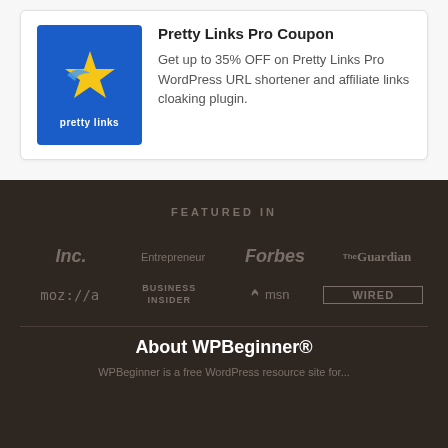[Figure (logo): Pretty Links logo: blue square background with a gold star and blue wing/arrow icon, white text 'pretty links' below]
Pretty Links Pro Coupon
Get up to 35% OFF on Pretty Links Pro WordPress URL shortener and affiliate links cloaking plugin.
FEATURED IN
[Figure (logo): Inc. logo in grey italic serif font]
[Figure (logo): Entrepreneur logo in grey text]
[Figure (logo): Forbes logo in grey italic serif font]
[Figure (logo): The Guardian logo in grey serif font]
[Figure (logo): moz://a logo in grey monospace font]
[Figure (logo): Business Insider logo in grey uppercase text]
[Figure (logo): msn logo in grey with butterfly icon]
[Figure (logo): WIRED logo in grey bold uppercase with border]
About WPBeginner®
WPBeginner is a free WordPress resource site for...